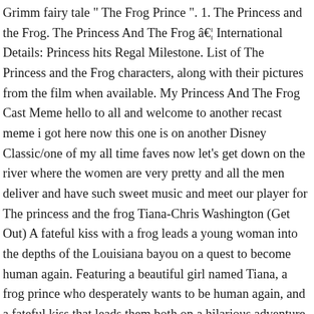Grimm fairy tale " The Frog Prince ". 1. The Princess and the Frog. The Princess And The Frog â€¦ International Details: Princess hits Regal Milestone. List of The Princess and the Frog characters, along with their pictures from the film when available. My Princess And The Frog Cast Meme hello to all and welcome to another recast meme i got here now this one is on another Disney Classic/one of my all time faves now let's get down on the river where the women are very pretty and all the men deliver and have such sweet music and meet our player for The princess and the frog Tiana-Chris Washington (Get Out) A fateful kiss with a frog leads a young woman into the depths of the Louisiana bayou on a quest to become human again. Featuring a beautiful girl named Tiana, a frog prince who desperately wants to be human again, and a fateful kiss that leads them both on a hilarious adventure through the mystical bayous of Louisiana. She was Charlotte's dog, who was given by her father Eli "Big Daddy" La Bouff. The film will not be released in theaters, but